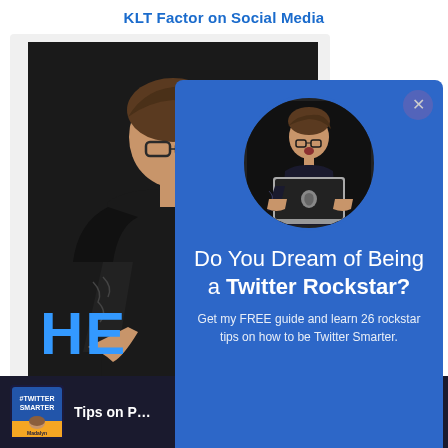KLT Factor on Social Media
[Figure (photo): Screenshot of a webpage showing a woman in a black t-shirt standing against a dark background with tattoos visible on her arm, partially obscured by a blue popup overlay. The blue overlay is a marketing popup with a circular photo of the same woman holding a MacBook laptop, looking surprised. Below the popup is a dark navigation bar with a podcast thumbnail labeled #Twitter Smarter.]
Do You Dream of Being a Twitter Rockstar?
Get my FREE guide and learn 26 rockstar tips on how to be Twitter Smarter.
Tips on P…